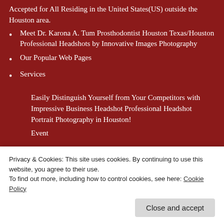Accepted for All Residing in the United States(US) outside the Houston area.
Meet Dr. Karona A. Tum Prosthodontist Houston Texas/Houston Professional Headshots by Innovative Images Photography
Our Popular Web Pages
Services
Easily Distinguish Yourself from Your Competitors with Impressive Business Headshot Professional Headshot Portrait Photography in Houston!
Event
Privacy & Cookies: This site uses cookies. By continuing to use this website, you agree to their use.
To find out more, including how to control cookies, see here: Cookie Policy
Robert Berger